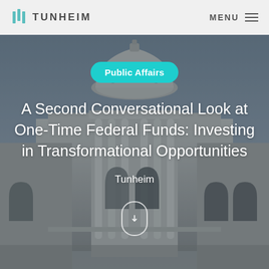TUNHEIM  |  MENU
[Figure (photo): Photograph of a neoclassical government capitol building with a large dome, ornate columns and arched windows, taken from a low angle perspective. The sky is overcast gray-blue. A cyan 'Public Affairs' badge, white title text, and author attribution overlay the image.]
A Second Conversational Look at One-Time Federal Funds: Investing in Transformational Opportunities
Tunheim